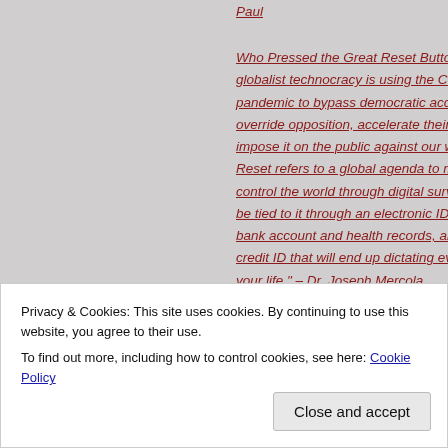Paul
Who Pressed the Great Reset Button? – "The globalist technocracy is using the COVID-19 pandemic to bypass democratic accountability, override opposition, accelerate their agenda and to impose it on the public against our will. The Great Reset refers to a global agenda to monitor and control the world through digital surveillance. You'll be tied to it through an electronic ID linked to your bank account and health records, and a social credit ID that will end up dictating every facet of your life." – Dr. Joseph Mercola
Privacy & Cookies: This site uses cookies. By continuing to use this website, you agree to their use.
To find out more, including how to control cookies, see here: Cookie Policy
Close and accept